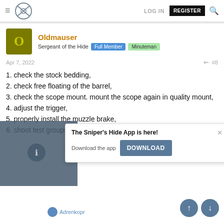≡ [Sniper's Hide Logo] LOG IN  REGISTER 🔍
Oldmauser
Sergeant of the Hide  Full Member  Minuteman
Apr 7, 2022  #8
1. check the stock bedding,
2. check free floating of the barrel,
3. check the scope mount. mount the scope again in quality mount,
4. adjust the trigger,
5. properly install the muzzle brake,
6. shoot test groups using front rest (Lenzi/SEB or  bipod,
7. ween shots.
[Figure (screenshot): The Sniper's Hide App popup overlay with Download button and X close button]